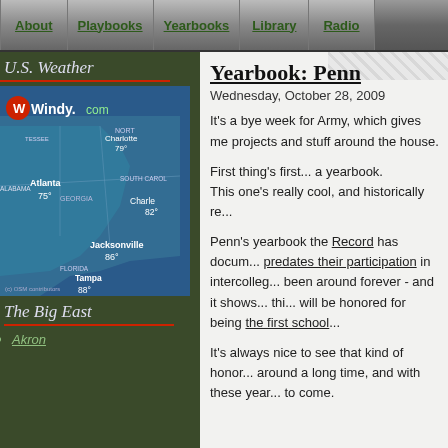About | Playbooks | Yearbooks | Library | Radio
U.S. Weather
[Figure (map): Windy.com weather map showing southeastern United States with temperature readings: Charlotte 79°, Atlanta 75°, Charleston 82°, Jacksonville 86°, Tampa 88°. States labeled: Tennessee, North Carolina, South Carolina, Alabama, Georgia, Florida.]
The Big East
Akron
Yearbook: Penn
Wednesday, October 28, 2009
It's a bye week for Army, which gives me time to catch up on various projects and stuff around the house.
First thing's first... a yearbook. This one's really cool, and historically re...
Penn's yearbook the Record has docum... predates their participation in intercolleg... been around forever - and it shows... thi... will be honored for being the first school...
It's always nice to see that kind of honor... around a long time, and with these year... to come.